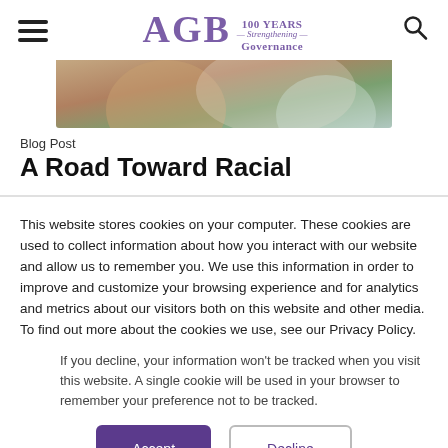AGB 100 YEARS Strengthening Governance
[Figure (photo): Close-up photo of hands, blurred background with green tones]
Blog Post
A Road Toward Racial
This website stores cookies on your computer. These cookies are used to collect information about how you interact with our website and allow us to remember you. We use this information in order to improve and customize your browsing experience and for analytics and metrics about our visitors both on this website and other media. To find out more about the cookies we use, see our Privacy Policy.
If you decline, your information won't be tracked when you visit this website. A single cookie will be used in your browser to remember your preference not to be tracked.
Accept
Decline